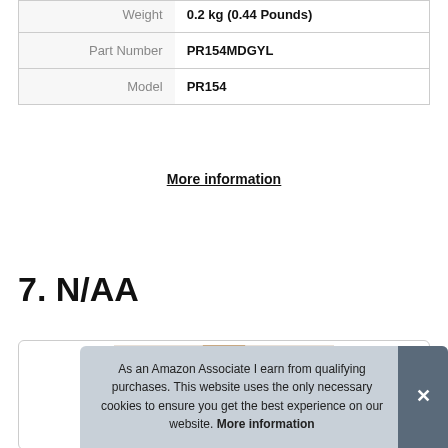| Attribute | Value |
| --- | --- |
| Weight | 0.2 kg (0.44 Pounds) |
| Part Number | PR154MDGYL |
| Model | PR154 |
More information
7. N/AA
[Figure (photo): Product photo partially visible inside a card/box with rounded border]
As an Amazon Associate I earn from qualifying purchases. This website uses the only necessary cookies to ensure you get the best experience on our website. More information